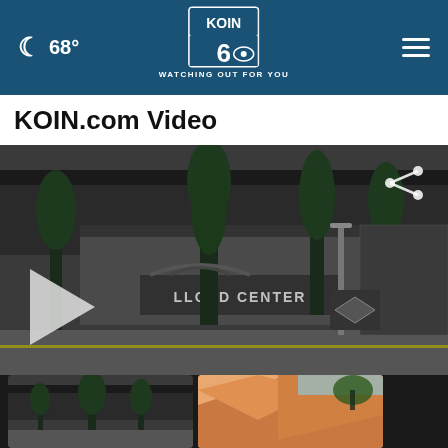🌙 68° | KOIN 6 CBS — WATCHING OUT FOR YOU
KOIN.com Video
[Figure (photo): Video thumbnail showing Lloyd Center mall exterior with trees and parking structure, with a play button overlay and share icon]
[Figure (photo): Small thumbnail showing Lloyd Center parking structure exterior with trees]
[Figure (photo): Small thumbnail showing an orange/peach fabric or tent structure]